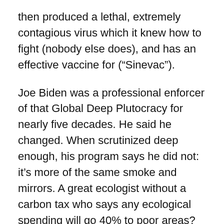then produced a lethal, extremely contagious virus which it knew how to fight (nobody else does), and has an effective vaccine for (“Sinevac”).
Joe Biden was a professional enforcer of that Global Deep Plutocracy for nearly five decades. He said he changed. When scrutinized deep enough, his program says he did not: it’s more of the same smoke and mirrors. A great ecologist without a carbon tax who says any ecological spending will go 40% to poor areas? Are poor areas going to show us how to make superconducting alloys of metallic hydrogen at room temperature and normal pressure? Biden confuses the needed fundamental research, which is needed and giving crumbs to the pigeons.
So shall we surrender our freedom of thought? The censors at the New York Times have censored me